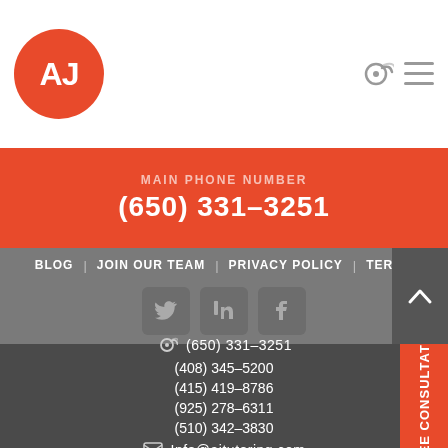[Figure (logo): AJ Tutoring logo: red circle with white AJ text]
[Figure (infographic): Phone icon and hamburger menu icon in header]
(650) 331-3251
BLOG   JOIN OUR TEAM   PRIVACY POLICY   TERMS
[Figure (infographic): Social media icons: Twitter, LinkedIn, Facebook]
(650) 331-3251
(408) 345-5200
(415) 419-8786
(925) 278-6311
(510) 342-3830
Info@ajtutoring.com
Free Consultation